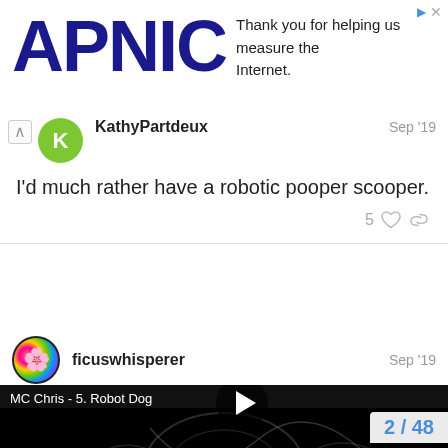[Figure (logo): APNIC logo with ad text: Thank you for helping us measure the Internet.]
KathyPartdeux
Sep '19
I'd much rather have a robotic pooper scooper.
5
ficuswhisperer
Sep '19
[Figure (screenshot): Video embed: MC Chris - 5. Robot Dog, showing dark album artwork with MCCHRIS text and a play button. Page indicator shows 2 / 48.]